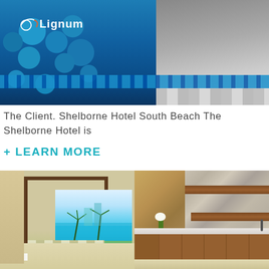[Figure (photo): Header banner image showing Lignum logo on left over blue pool water with bubble texture and tile mosaic on right]
The Client. Shelborne Hotel South Beach The Shelborne Hotel is
+ LEARN MORE
[Figure (photo): Interior hotel room photo split: left side shows glass door with tropical water view and palm trees; right side shows wooden kitchen/bar cabinets with stone backsplash and floating wood shelves]